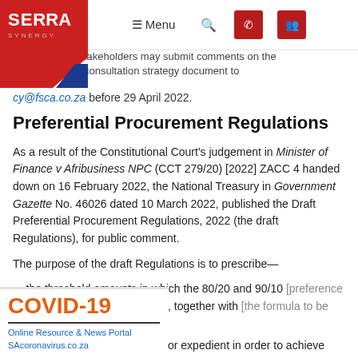Menu [navigation bar with SERA Synergy logo, search, phone, and people icons]
stakeholders may submit comments on the consultation strategy document to
cy@fsca.co.za before 29 April 2022.
Preferential Procurement Regulations
As a result of the Constitutional Court's judgement in Minister of Finance v Afribusiness NPC (CCT 279/20) [2022] ZACC 4 handed down on 16 February 2022, the National Treasury in Government Gazette No. 46026 dated 10 March 2022, published the Draft Preferential Procurement Regulations, 2022 (the draft Regulations), for public comment.
The purpose of the draft Regulations is to prescribe—
the threshold amounts in which the 80/20 and 90/10 [preference point] systems must be used, together with [the formula to be ap]plied; and
[matters that are neces]sary or expedient in order to achieve [the objects of the Act].
[Figure (logo): COVID-19 Online Resource & News Portal SAcoronavirus.co.za panel overlaid at bottom left]